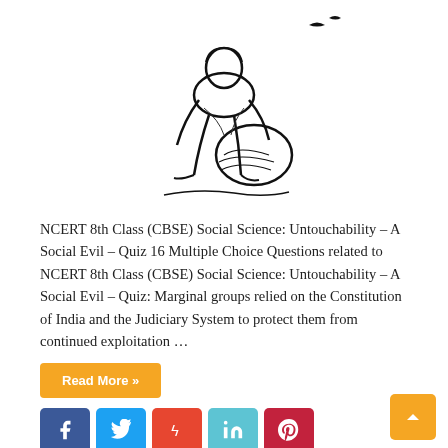[Figure (illustration): Black and white line drawing of a hunched figure carrying a heavy round load, depicting a marginalized laborer]
NCERT 8th Class (CBSE) Social Science: Untouchability – A Social Evil – Quiz 16 Multiple Choice Questions related to NCERT 8th Class (CBSE) Social Science: Untouchability – A Social Evil – Quiz: Marginal groups relied on the Constitution of India and the Judiciary System to protect them from continued exploitation …
Read More »
[Figure (other): Social sharing buttons: Facebook, Twitter, StumbleUpon, LinkedIn, Pinterest]
NCERT 8th Class Social Science: The Police And The Courts Quiz